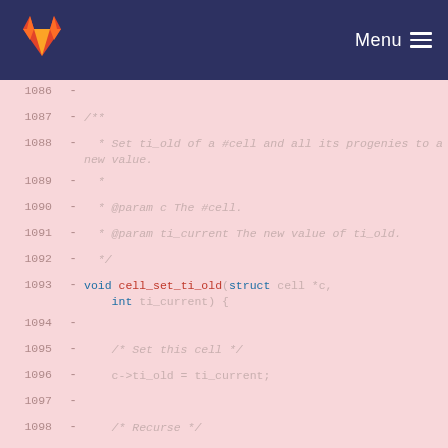GitLab navigation bar with Menu
Code diff view showing lines 1086-1102 of a C source file with removed lines (marked with -) showing cell_set_ti_old function
1086  -
1087  -  /**
1088  -   * Set ti_old of a #cell and all its progenies to a new value.
1089  -   *
1090  -   * @param c The #cell.
1091  -   * @param ti_current The new value of ti_old.
1092  -   */
1093  - void cell_set_ti_old(struct cell *c, int ti_current) {
1094  -
1095  -    /* Set this cell */
1096  -    c->ti_old = ti_current;
1097  -
1098  -    /* Recurse */
1099  -    if (c->split) {
1100  -       for (int k = 0; k < 8; ++k) {
1101  -          if (c->progeny[k] != NULL) {
1102  -             struct cell *cp = c-